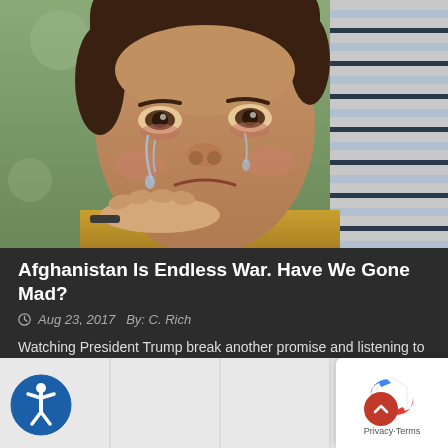[Figure (photo): A young boy crying with tears on his face, wearing a yellow shirt. An adult hand rests on his shoulder. Another person in a striped shirt is visible in the background.]
Afghanistan Is Endless War. Have We Gone Mad?
Aug 23, 2017  By: C. Rich
Watching President Trump break another promise and listening to his speech about the war just made me sad. I don't know any better word to use, it is just sad.
Read More...